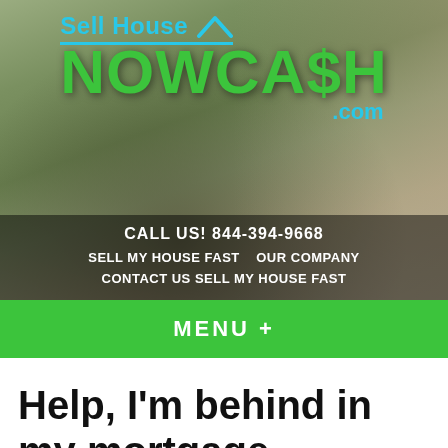[Figure (screenshot): SellHouseNowCash.com website header with logo, navigation links, phone number, and background photo of a family in a field]
CALL US! 844-394-9668
SELL MY HOUSE FAST   OUR COMPANY
CONTACT US SELL MY HOUSE FAST
MENU +
Help, I’m behind in my mortgage payments in !